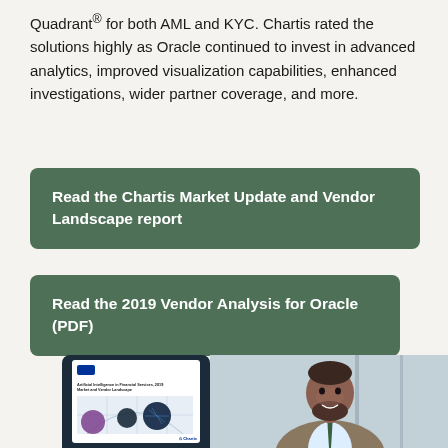Quadrant® for both AML and KYC. Chartis rated the solutions highly as Oracle continued to invest in advanced analytics, improved visualization capabilities, enhanced investigations, wider partner coverage, and more.
Read the Chartis Market Update and Vendor Landscape report
Read the 2019 Vendor Analysis for Oracle (PDF)
[Figure (photo): A tablet displaying the Chartis 'Artificial Intelligence in Financial Services, 2019 Market and Vendor Landscape' report cover, alongside a photo of a smiling businessman in a suit with a green tie.]